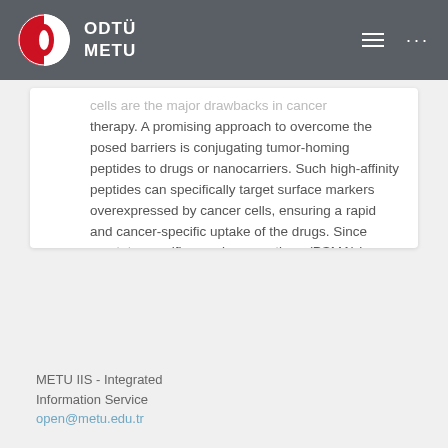ODTÜ METU
cells are the major drawbacks in cancer therapy. A promising approach to overcome the posed barriers is conjugating tumor-homing peptides to drugs or nanocarriers. Such high-affinity peptides can specifically target surface markers overexpressed by cancer cells, ensuring a rapid and cancer-specific uptake of the drugs. Since prostate-specific membrane antigen (PSMA) is overexpressed by aggressive prostate cancer ...
METU IIS - Integrated Information Service
open@metu.edu.tr